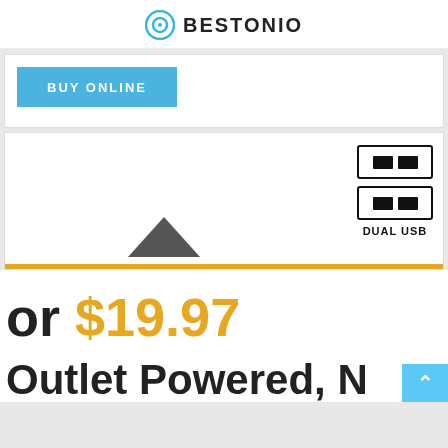BESTONIO
[Figure (screenshot): Blue BUY ONLINE button]
[Figure (illustration): Product image area with dual USB port icons and DUAL USB label, orange bottom bar]
or $19.97
Outlet Powered, N